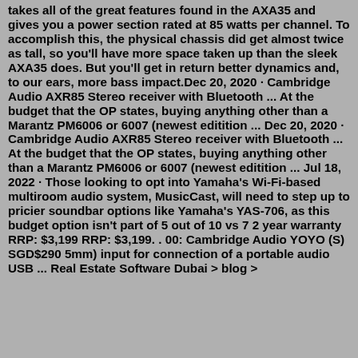takes all of the great features found in the AXA35 and gives you a power section rated at 85 watts per channel. To accomplish this, the physical chassis did get almost twice as tall, so you'll have more space taken up than the sleek AXA35 does. But you'll get in return better dynamics and, to our ears, more bass impact.Dec 20, 2020 · Cambridge Audio AXR85 Stereo receiver with Bluetooth ... At the budget that the OP states, buying anything other than a Marantz PM6006 or 6007 (newest editition ... Dec 20, 2020 · Cambridge Audio AXR85 Stereo receiver with Bluetooth ... At the budget that the OP states, buying anything other than a Marantz PM6006 or 6007 (newest editition ... Jul 18, 2022 · Those looking to opt into Yamaha's Wi-Fi-based multiroom audio system, MusicCast, will need to step up to pricier soundbar options like Yamaha's YAS-706, as this budget option isn't part of 5 out of 10 vs 7 2 year warranty RRP: $3,199 RRP: $3,199. . 00: Cambridge Audio YOYO (S) SGD$290 5mm) input for connection of a portable audio USB ... Real Estate Software Dubai > blog >